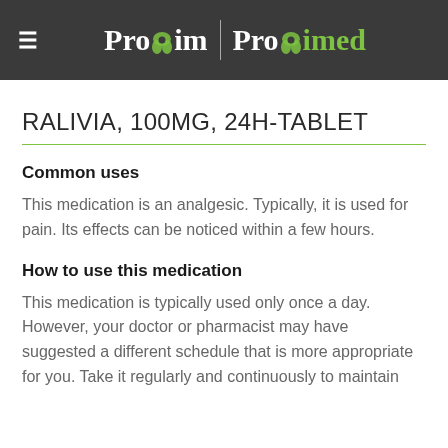Proxim | Proximed
RALIVIA, 100MG, 24H-TABLET
Common uses
This medication is an analgesic. Typically, it is used for pain. Its effects can be noticed within a few hours.
How to use this medication
This medication is typically used only once a day. However, your doctor or pharmacist may have suggested a different schedule that is more appropriate for you. Take it regularly and continuously to maintain